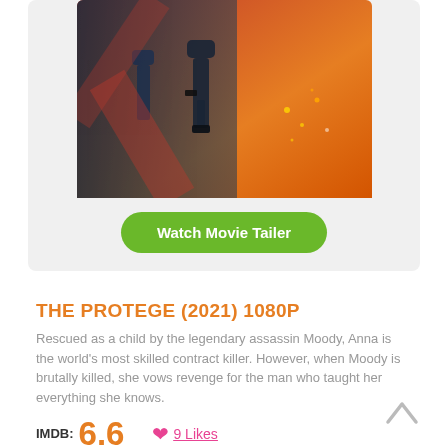[Figure (photo): Movie poster for The Protege (2021) showing action scene with figures against orange/red background]
Watch Movie Tailer
THE PROTEGE (2021) 1080P
Rescued as a child by the legendary assassin Moody, Anna is the world's most skilled contract killer. However, when Moody is brutally killed, she vows revenge for the man who taught her everything she knows.
IMDB: 6.6   9 Likes
Genre: Action | Crime